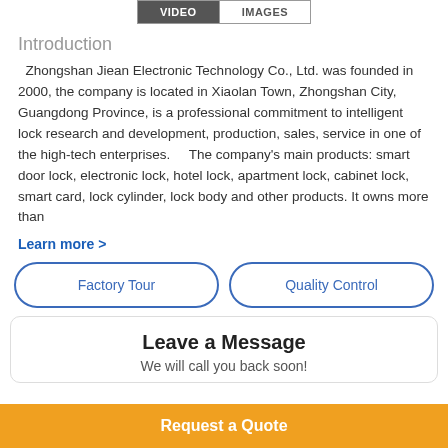VIDEO  IMAGES
Introduction
Zhongshan Jiean Electronic Technology Co., Ltd. was founded in 2000, the company is located in Xiaolan Town, Zhongshan City, Guangdong Province, is a professional commitment to intelligent lock research and development, production, sales, service in one of the high-tech enterprises.    The company's main products: smart door lock, electronic lock, hotel lock, apartment lock, cabinet lock, smart card, lock cylinder, lock body and other products. It owns more than
Learn more >
Factory Tour
Quality Control
Leave a Message
We will call you back soon!
Request a Quote